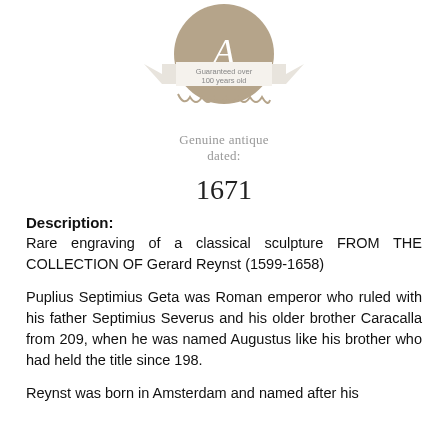[Figure (logo): Circular antique guarantee badge with an 'A' monogram and a banner reading 'Guaranteed over 100 years old']
Genuine antique dated:
1671
Description:
Rare engraving of a classical sculpture FROM THE COLLECTION OF Gerard Reynst (1599-1658)
Puplius Septimius Geta was Roman emperor who ruled with his father Septimius Severus and his older brother Caracalla from 209, when he was named Augustus like his brother who had held the title since 198.
Reynst was born in Amsterdam and named after his